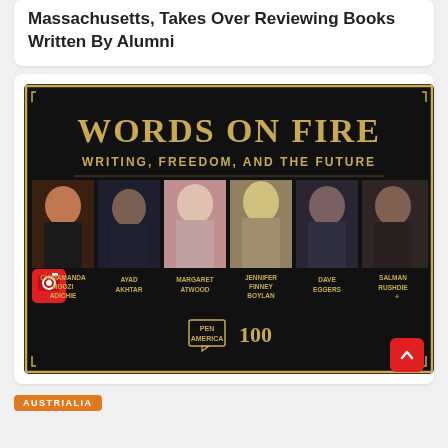Massachusetts, Takes Over Reviewing Books Written By Alumni
[Figure (infographic): Words on Fire event banner showing 'WORDS ON FIRE / WRITING, FREEDOM, AND THE FUTURE' with headshots of Chimamanda Ngozi Adichie, Ayad Akhtar, Margaret Atwood, Jennifer Finney Boylan, Dave Eggers, and Salman Rushdie. PEN America 100 logo at bottom.]
AUSTRIALIA